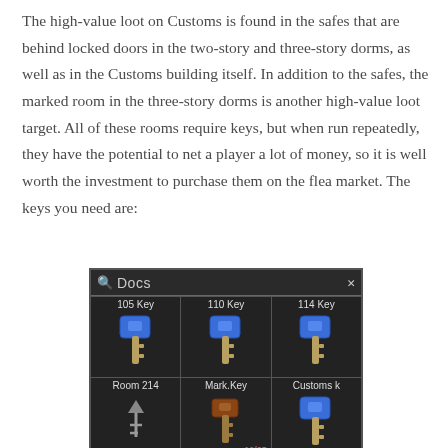The high-value loot on Customs is found in the safes that are behind locked doors in the two-story and three-story dorms, as well as in the Customs building itself. In addition to the safes, the marked room in the three-story dorms is another high-value loot target. All of these rooms require keys, but when run repeatedly, they have the potential to net a player a lot of money, so it is well worth the investment to purchase them on the flea market. The keys you need are:
[Figure (screenshot): In-game inventory screenshot showing a search for 'Docs' with five key items displayed in a 3x2 grid: 105 Key, 110 Key, 114 Key (top row), Room 214, Mark.Key, Customs k (bottom row). Mark.Key shows 10/25 count in red.]